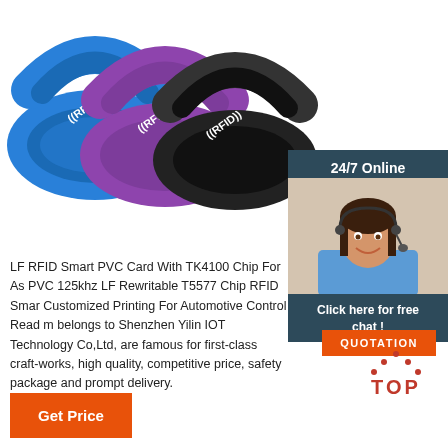[Figure (photo): Three colorful RFID silicone wristbands in blue, purple, and black with ((RFID)) text, overlapping each other. A customer service agent photo with headset is shown in the bottom-right area with a '24/7 Online' banner.]
LF RFID Smart PVC Card With TK4100 Chip For As PVC 125khz LF Rewritable T5577 Chip RFID Smar Customized Printing For Automotive Control Read m belongs to Shenzhen Yilin IOT Technology Co,Ltd, are famous for first-class craft-works, high quality, competitive price, safety package and prompt delivery.
Click here for free chat !
QUOTATION
24/7 Online
Get Price